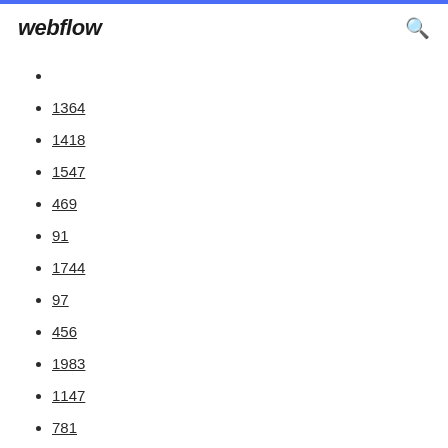webflow
1364
1418
1547
469
91
1744
97
456
1983
1147
781